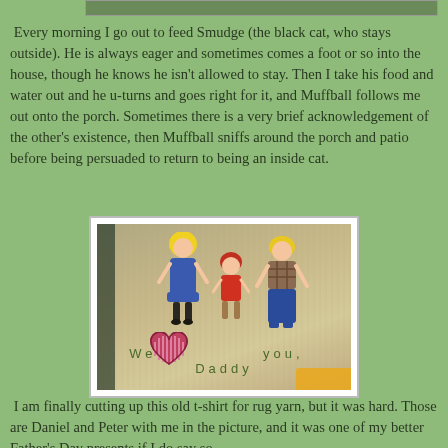[Figure (photo): Partial photo at top of page, cropped, showing outdoor scene]
Every morning I go out to feed Smudge (the black cat, who stays outside). He is always eager and sometimes comes a foot or so into the house, though he knows he isn't allowed to stay. Then I take his food and water out and he u-turns and goes right for it, and Muffball follows me out onto the porch. Sometimes there is a very brief acknowledgement of the other's existence, then Muffball sniffs around the porch and patio before being persuaded to return to being an inside cat.
[Figure (photo): Photo of a fabric or t-shirt with appliqued figures of a woman, child, and man, and embroidered text reading 'We love you, Daddy' with a heart]
I am finally cutting up this old t-shirt for rug yarn, but it was hard. Those are Daniel and Peter with me in the picture, and it was one of my better Father's Day presents if I do say so.